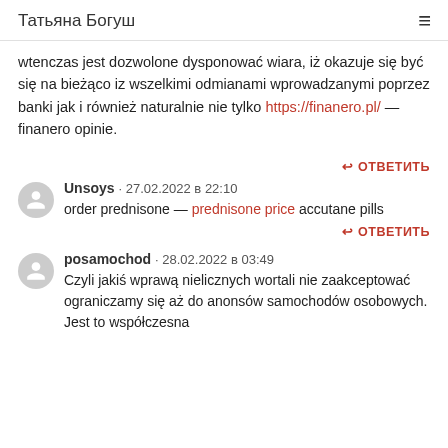Татьяна Богуш
wtenczas jest dozwolone dysponować wiara, iż okazuje się być się na bieżąco iz wszelkimi odmianami wprowadzanymi poprzez banki jak i również naturalnie nie tylko https://finanero.pl/ — finanero opinie.
↩ ОТВЕТИТЬ
Unsoys · 27.02.2022 в 22:10
order prednisone — prednisone price accutane pills
↩ ОТВЕТИТЬ
posamochod · 28.02.2022 в 03:49
Czyli jakiś wprawą nielicznych wortali nie zaakceptować ograniczamy się aż do anonsów samochodów osobowych. Jest to współczesna